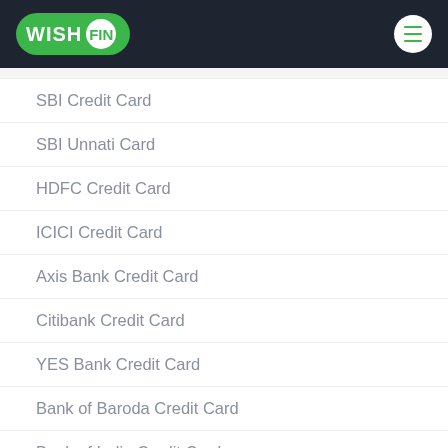WISHFIN
SBI Credit Card
SBI Unnati Card
HDFC Credit Card
ICICI Credit Card
Axis Bank Credit Card
Citibank Credit Card
YES Bank Credit Card
Bank of Baroda Credit Card
Bank of India Credit Card
HSBC Credit Card
IDBI Bank Credit Card
IndusInd Bank Credit Card
Kisan Credit Card